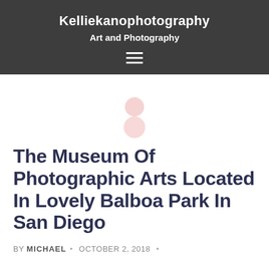Kelliekanophotography — Art and Photography
[Figure (illustration): User avatar icon made of two pink circles (head and body silhouette)]
The Museum Of Photographic Arts Located In Lovely Balboa Park In San Diego
BY MICHAEL · OCTOBER 2, 2018 ·